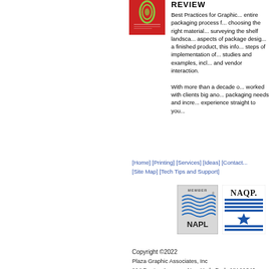[Figure (illustration): Red book cover for a packaging design publication]
REVIEW
Best Practices for Graphic... entire packaging process f... choosing the right material... surveying the shelf landsca... aspects of package desig... a finished product, this info... steps of implementation of... studies and examples, incl... and vendor interaction.

With more than a decade o... worked with clients big ano... packaging needs and incre... experience straight to you...
[Home] [Printing] [Services] [Ideas] [Contact... [Site Map] [Tech Tips and Support]
[Figure (logo): NAPL MEMBER logo badge]
[Figure (logo): NAQP logo badge]
Copyright ©2022
Plaza Graphic Associates, Inc
114 Denton Avenue • New Hyde Park, NY 11040
Phone 516.739.3500 • Fax 516.739.3560 E-mail Us